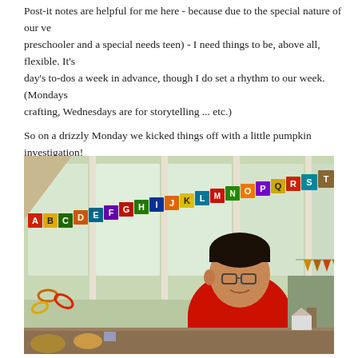Post-it notes are helpful for me here - because due to the special nature of our ve (preschooler and a special needs teen) - I need things to be, above all, flexible. It's day's to-dos a week in advance, though I do set a rhythm to our week. (Mondays crafting, Wednesdays are for storytelling ... etc.)
So on a drizzly Monday we kicked things off with a little pumpkin investigation!
[Figure (photo): A teenage boy wearing a red sweater standing in a bright room decorated with a colorful alphabet banner (A through T visible) along the top of large windows. The room has autumn decorations including a paper chain and small bunting. The boy appears to be at a table or counter.]